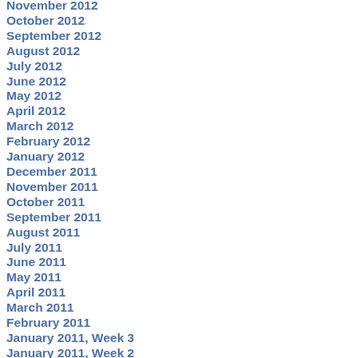November 2012
October 2012
September 2012
August 2012
July 2012
June 2012
May 2012
April 2012
March 2012
February 2012
January 2012
December 2011
November 2011
October 2011
September 2011
August 2011
July 2011
June 2011
May 2011
April 2011
March 2011
February 2011
January 2011, Week 3
January 2011, Week 2
January 2011, Week 1
January 2011
December 2010, Week 5
December 2010, Week 4
December 2010, Week 3
December 2010, Week 2
December 2010, Week 1